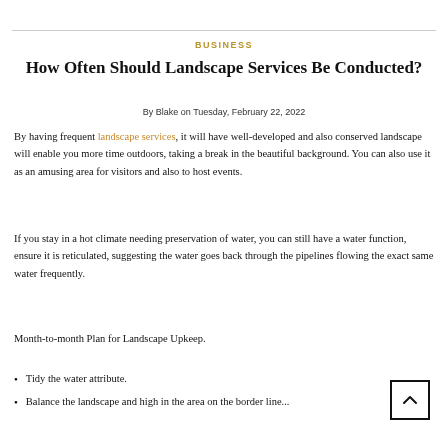BUSINESS
How Often Should Landscape Services Be Conducted?
By Blake on Tuesday, February 22, 2022
By having frequent landscape services, it will have well-developed and also conserved landscape will enable you more time outdoors, taking a break in the beautiful background. You can also use it as an amusing area for visitors and also to host events.
If you stay in a hot climate needing preservation of water, you can still have a water function, ensure it is reticulated, suggesting the water goes back through the pipelines flowing the exact same water frequently.
Month-to-month Plan for Landscape Upkeep.
Tidy the water attribute.
Balance the...